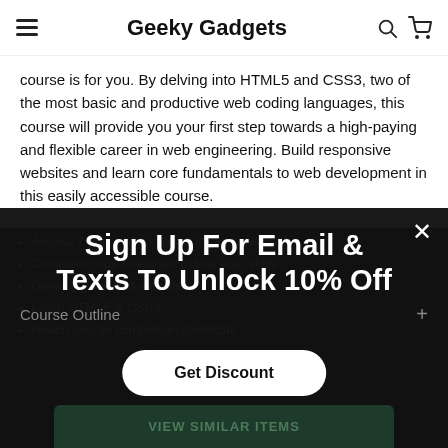Geeky Gadgets
course is for you. By delving into HTML5 and CSS3, two of the most basic and productive web coding languages, this course will provide you your first step towards a high-paying and flexible career in web engineering. Build responsive websites and learn core fundamentals to web development in this easily accessible course.
Access 7 hours of content & 78 lessons 24/7
Complete code exercises to test your skills
Develop your own website
Learn HTML5 & CSS3
Reach course completion certificate
Sign Up For Email & Texts To Unlock 10% Off
Course Outline
Get Discount
VIEW SIMILAR ITEMS